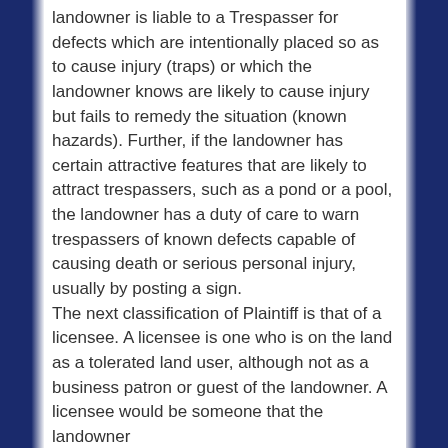landowner is liable to a Trespasser for defects which are intentionally placed so as to cause injury (traps) or which the landowner knows are likely to cause injury but fails to remedy the situation (known hazards).  Further, if the landowner has certain attractive features that are likely to attract trespassers, such as a pond or a pool, the landowner has a duty of care to warn trespassers of known defects capable of causing death or serious personal injury, usually by posting a sign.
The next classification of Plaintiff is that of a licensee.  A licensee is one who is on the land as a tolerated land user, although not as a business patron or guest of the landowner.  A licensee would be someone that the landowner